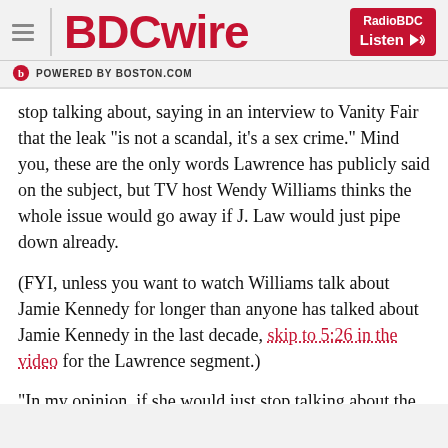BDCwire — POWERED BY BOSTON.COM — RadioBDC Listen
stop talking about, saying in an interview to Vanity Fair that the leak "is not a scandal, it's a sex crime." Mind you, these are the only words Lawrence has publicly said on the subject, but TV host Wendy Williams thinks the whole issue would go away if J. Law would just pipe down already.
(FYI, unless you want to watch Williams talk about Jamie Kennedy for longer than anyone has talked about Jamie Kennedy in the last decade, skip to 5:26 in the video for the Lawrence segment.)
"In my opinion, if she would just stop talking about the cloud and the naked pictures, it'd just go away!" Williams says to her contractually obligated to applaud audience